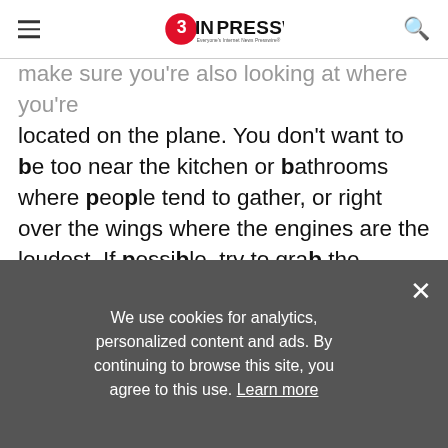EIN PRESSWIRE — Everyone's Internet News Presswire
make sure you're also looking at where you're located on the plane. You don't want to be too near the kitchen or bathrooms where people tend to gather, or right over the wings where the engines are the loudest. If possible, try to grab the emergency exit seats because they have extra legroom and more space to recline!
Store Your In-Flight Essentials in One Area
Your headphones, your water, your book, your phone charger, your snacks, whatever items you
We use cookies for analytics, personalized content and ads. By continuing to browse this site, you agree to this use. Learn more